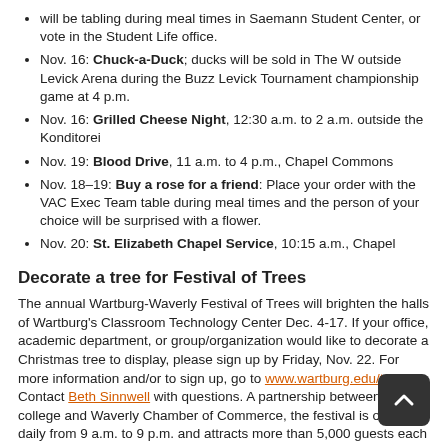will be tabling during meal times in Saemann Student Center, or vote in the Student Life office.
Nov. 16: Chuck-a-Duck; ducks will be sold in The W outside Levick Arena during the Buzz Levick Tournament championship game at 4 p.m.
Nov. 16: Grilled Cheese Night, 12:30 a.m. to 2 a.m. outside the Konditorei
Nov. 19: Blood Drive, 11 a.m. to 4 p.m., Chapel Commons
Nov. 18–19: Buy a rose for a friend: Place your order with the VAC Exec Team table during meal times and the person of your choice will be surprised with a flower.
Nov. 20: St. Elizabeth Chapel Service, 10:15 a.m., Chapel
Decorate a tree for Festival of Trees
The annual Wartburg-Waverly Festival of Trees will brighten the halls of Wartburg's Classroom Technology Center Dec. 4-17. If your office, academic department, or group/organization would like to decorate a Christmas tree to display, please sign up by Friday, Nov. 22. For more information and/or to sign up, go to www.wartburg.edu/trees. Contact Beth Sinnwell with questions. A partnership between the college and Waverly Chamber of Commerce, the festival is open daily from 9 a.m. to 9 p.m. and attracts more than 5,000 guests each year. There is no entry fee or admission charge.